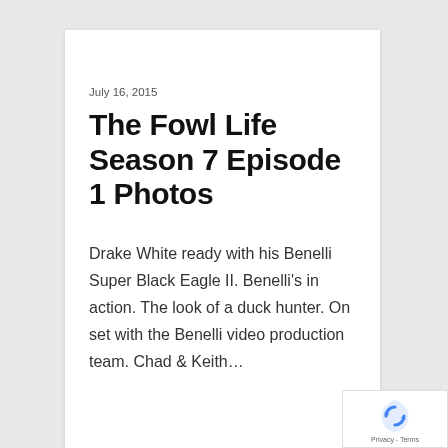July 16, 2015
The Fowl Life Season 7 Episode 1 Photos
Drake White ready with his Benelli Super Black Eagle II. Benelli's in action. The look of a duck hunter. On set with the Benelli video production team. Chad & Keith…
[Figure (logo): reCAPTCHA badge with Google logo icon and Privacy - Terms text]